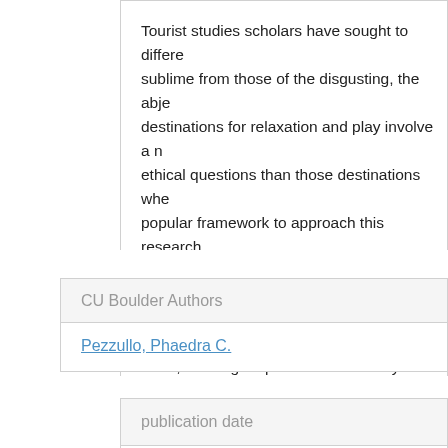Tourist studies scholars have sought to differe sublime from those of the disgusting, the abje destinations for relaxation and play involve a n ethical questions than those destinations whe popular framework to approach this research questioning it, none have interrogated the tro the scholarly and political assumptions behind Then, drawing on performance theory and the ways that the performance studies turn in tou the intersections of death and tourism, includi embodiment.
CU Boulder Authors
Pezzullo, Phaedra C.
publication date